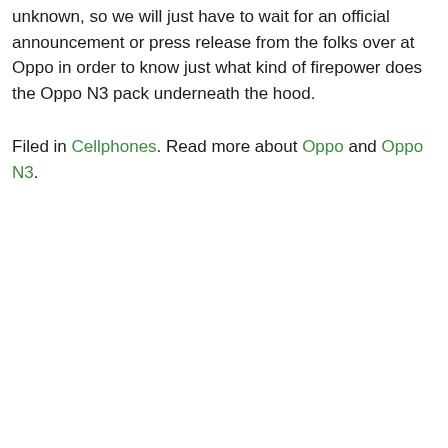unknown, so we will just have to wait for an official announcement or press release from the folks over at Oppo in order to know just what kind of firepower does the Oppo N3 pack underneath the hood.
Filed in Cellphones. Read more about Oppo and Oppo N3.